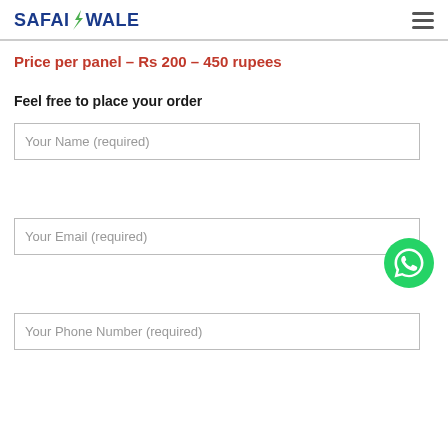SAFAIWALE
Price per panel – Rs 200 – 450 rupees
Feel free to place your order
Your Name (required)
Your Email (required)
Your Phone Number (required)
[Figure (illustration): WhatsApp floating button (green circle with WhatsApp logo)]